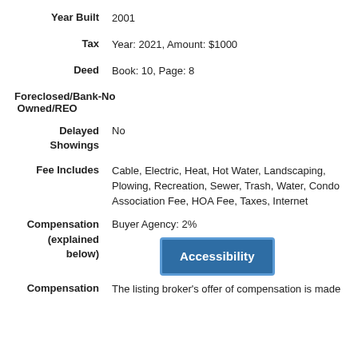Year Built: 2001
Tax: Year: 2021, Amount: $1000
Deed: Book: 10, Page: 8
Foreclosed/Bank-Owned/REO: No
Delayed Showings: No
Fee Includes: Cable, Electric, Heat, Hot Water, Landscaping, Plowing, Recreation, Sewer, Trash, Water, Condo Association Fee, HOA Fee, Taxes, Internet
Compensation (explained below): Buyer Agency: 2%
[Figure (other): Blue Accessibility button]
Compensation: The listing broker's offer of compensation is made